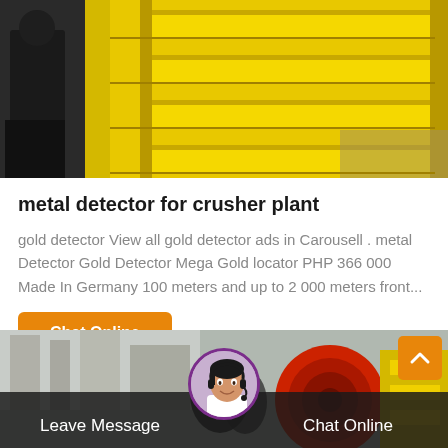[Figure (photo): Industrial yellow metal crusher or jaw plate machinery equipment, close-up showing metal shelves/grate structure in yellow with a worker partially visible on the left side.]
metal detector for crusher plant
gold detector View all gold detector ads in Carousell . metal Detector Gold Detector Mega Gold locator PHP 366 000 Made In Germany 100 meters and up to 2 000 meters front...
Chat Online
[Figure (photo): Industrial plant/machinery bottom banner image showing red and yellow mechanical components with a female customer service agent avatar in a circular frame with purple border, Chat Online and Leave Message buttons on a dark overlay bar, and an orange scroll-to-top button.]